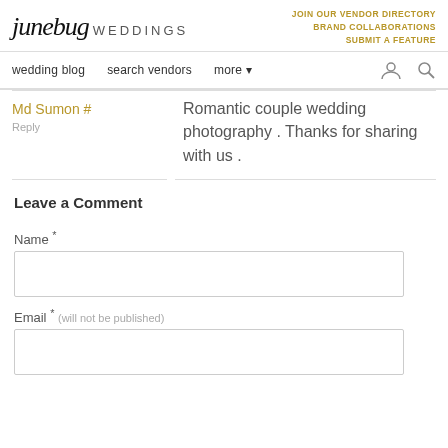junebug WEDDINGS | JOIN OUR VENDOR DIRECTORY BRAND COLLABORATIONS SUBMIT A FEATURE
wedding blog  search vendors  more
Md Sumon #
Reply
Romantic couple wedding photography . Thanks for sharing with us .
Leave a Comment
Name *
Email * (will not be published)